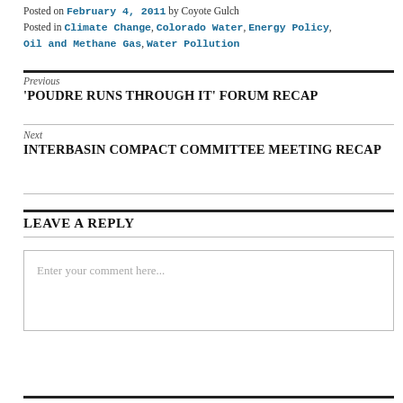Posted on February 4, 2011 by Coyote Gulch
Posted in Climate Change, Colorado Water, Energy Policy, Oil and Methane Gas, Water Pollution
Previous
'POUDRE RUNS THROUGH IT' FORUM RECAP
Next
INTERBASIN COMPACT COMMITTEE MEETING RECAP
LEAVE A REPLY
Enter your comment here...